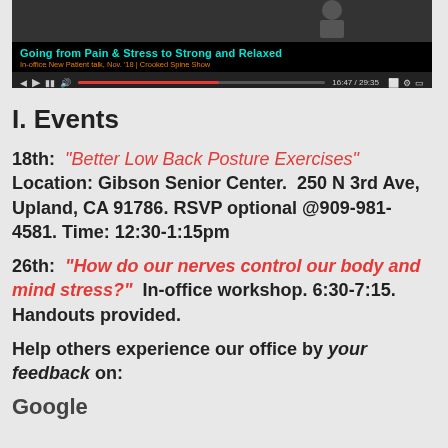[Figure (screenshot): Video player thumbnail showing 'Going from Pain & Stress to Strong and Relaxed' - In-office New Patient talk, Nov. '18 | Crooked Spine Show. Timestamp shows 16:47 / 29:35.]
I. Events
18th: "Better Low Back Posture Exercises"  Location: Gibson Senior Center.  250 N 3rd Ave, Upland, CA 91786. RSVP optional @909-981-4581. Time: 12:30-1:15pm
26th: "How do our nerves control our body and mind stress?" In-office workshop. 6:30-7:15.  Handouts provided.
Help others experience our office by your feedback on:
Google